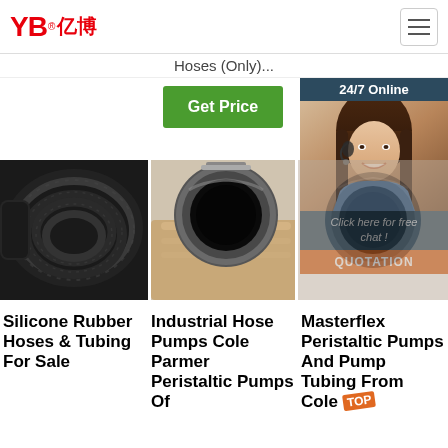YB亿博® — navigation header with hamburger menu
Hoses (Only)...
[Figure (screenshot): Green 'Get Price' button]
[Figure (photo): 24/7 Online customer service chat widget with agent photo, 'Click here for free chat!' text, and orange QUOTATION button]
[Figure (photo): Silicone rubber hose coiled, black braided texture]
[Figure (photo): Industrial hose end cross-section showing black interior, held by hand]
[Figure (photo): Peristaltic pump tubing end cross-section]
Silicone Rubber Hoses & Tubing For Sale
Industrial Hose Pumps Cole Parmer Peristaltic Pumps Of
Masterflex Peristaltic Pumps And Pump Tubing From Cole